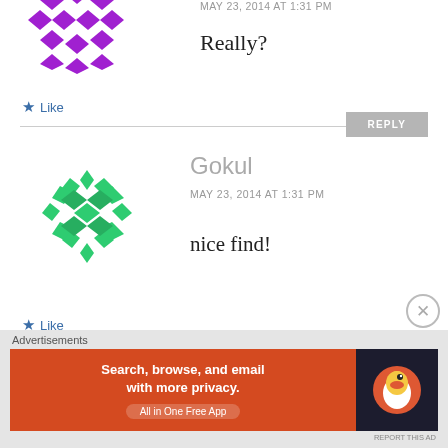[Figure (illustration): Purple decorative avatar icon with geometric diamond/arrow pattern]
MAY 23, 2014 AT 1:31 PM
Really?
★ Like
REPLY
[Figure (illustration): Green decorative avatar icon with snowflake/star geometric pattern for user Gokul]
Gokul
MAY 23, 2014 AT 1:31 PM
nice find!
★ Like
Advertisements
[Figure (screenshot): DuckDuckGo advertisement banner: 'Search, browse, and email with more privacy. All in One Free App' on orange background with DuckDuckGo logo on dark background]